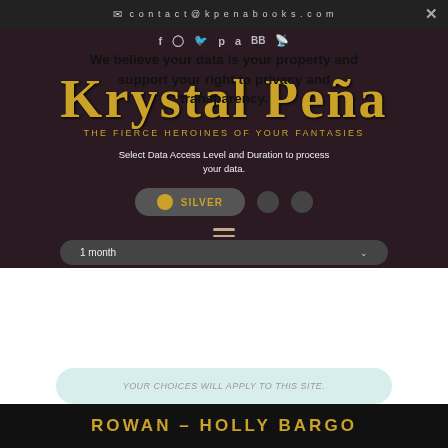contact@kpenabooks.com
We believe your data is your property and support your right to privacy and transparency.
[Figure (logo): Krystal Pena logo — The Fierce Heroines of Your Fantasies]
Select Data Access Level and Duration to process your data.
SILVER — 1 month
ROWAN – HOLLY BARGO